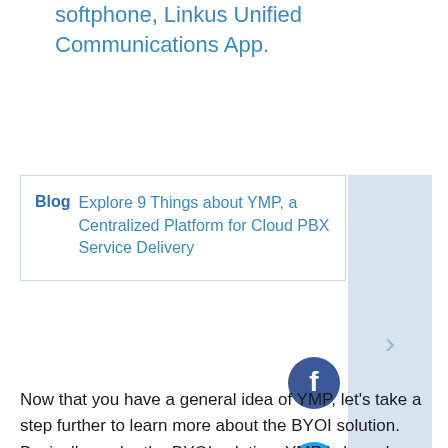softphone, Linkus Unified Communications App.
Blog  Explore 9 Things about YMP, a Centralized Platform for Cloud PBX Service Delivery
[Figure (other): Social media icons: Facebook (dark blue circle with f), Twitter (light blue circle with bird), LinkedIn (blue circle with in)]
Now that you have a general idea of YMP, let's take a step further to learn more about the BYOI solution. Basically, under the BYOI solution, YMP is based on your own server and you stay in complete control of the platform. You create the products and set the prices.